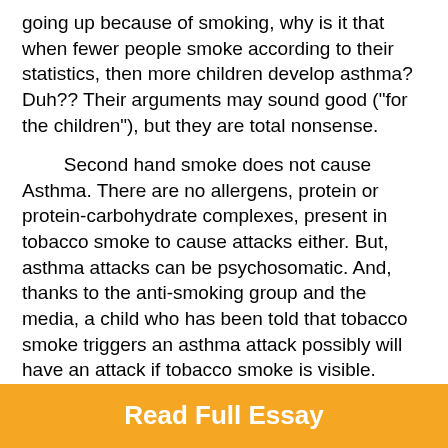going up because of smoking, why is it that when fewer people smoke according to their statistics, then more children develop asthma? Duh?? Their arguments may sound good ("for the children"), but they are total nonsense.
Second hand smoke does not cause Asthma. There are no allergens, protein or protein-carbohydrate complexes, present in tobacco smoke to cause attacks either. But, asthma attacks can be psychosomatic. And, thanks to the anti-smoking group and the media, a child who has been told that tobacco smoke triggers an asthma attack possibly will have an attack if tobacco smoke is visible. (Numerous clinical trials have shown that no attacks occur if children do not know that they are in the presence of tobacco smoke.)
It's been said that if you tell people a lie often enough, they will begin to believe it.
Read Full Essay